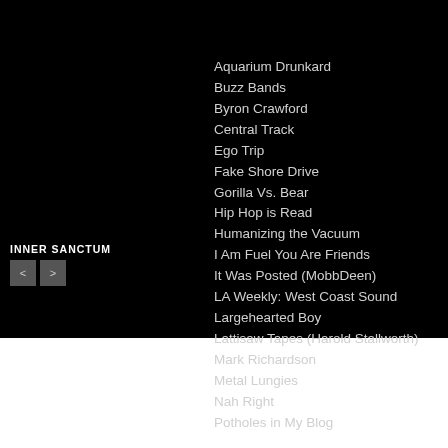INNER SANCTUM
Aquarium Drunkard
Buzz Bands
Byron Crawford
Central Track
Ego Trip
Fake Shore Drive
Gorilla Vs. Bear
Hip Hop is Read
Humanizing the Vacuum
I Am Fuel You Are Friends
It Was Posted (MobbDeen)
LA Weekly: West Coast Sound
Largehearted Boy
Lattisaw Tapes (Harold Stallworth)
Mark Richardson
Metal Lungies
Nah Right
Potholes in My Blog